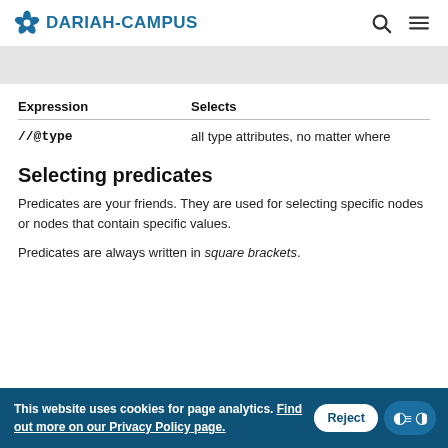DARIAH-CAMPUS
| Expression | Selects |
| --- | --- |
| //@type | all type attributes, no matter where |
Selecting predicates
Predicates are your friends. They are used for selecting specific nodes or nodes that contain specific values.
Predicates are always written in square brackets.
This website uses cookies for page analytics. Find out more on our Privacy Policy page.